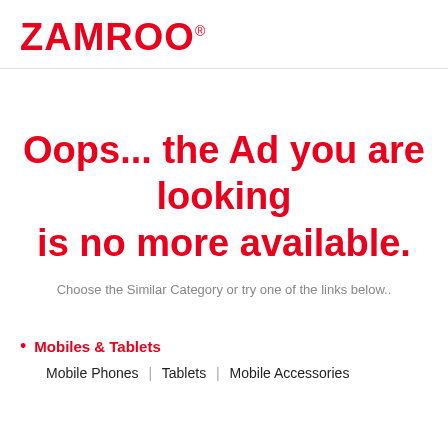ZAMROO®
Oops... the Ad you are looking is no more available.
Choose the Similar Category or try one of the links below..
Mobiles & Tablets
Mobile Phones | Tablets | Mobile Accessories